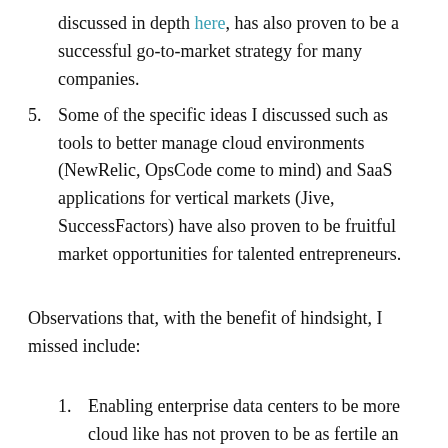discussed in depth here, has also proven to be a successful go-to-market strategy for many companies.
Some of the specific ideas I discussed such as tools to better manage cloud environments (NewRelic, OpsCode come to mind) and SaaS applications for vertical markets (Jive, SuccessFactors) have also proven to be fruitful market opportunities for talented entrepreneurs.
Observations that, with the benefit of hindsight, I missed include:
Enabling enterprise data centers to be more cloud like has not proven to be as fertile an area as I suspected.  Yes, VMware is seeing success with their software defined data center strategy, but as of yet